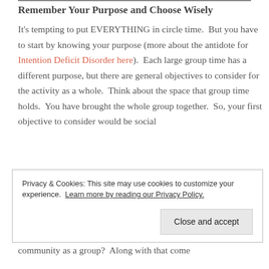Remember Your Purpose and Choose Wisely
It's tempting to put EVERYTHING in circle time.  But you have to start by knowing your purpose (more about the antidote for Intention Deficit Disorder here).  Each large group time has a different purpose, but there are general objectives to consider for the activity as a whole.  Think about the space that group time holds.  You have brought the whole group together.  So, your first objective to consider would be social
Privacy & Cookies: This site may use cookies to customize your experience. Learn more by reading our Privacy Policy.
Close and accept
community as a group?  Along with that come